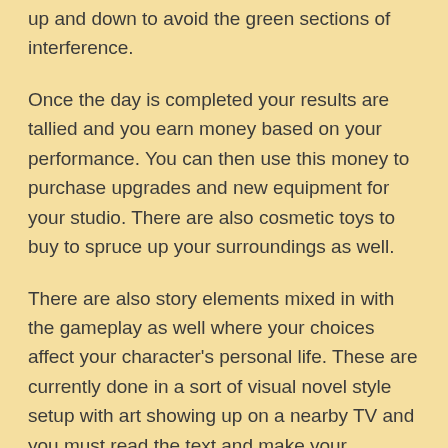up and down to avoid the green sections of interference.
Once the day is completed your results are tallied and you earn money based on your performance. You can then use this money to purchase upgrades and new equipment for your studio. There are also cosmetic toys to buy to spruce up your surroundings as well.
There are also story elements mixed in with the gameplay as well where your choices affect your character's personal life. These are currently done in a sort of visual novel style setup with art showing up on a nearby TV and you must read the text and make your decision from the choices given. Some choices have pretty major consequences so